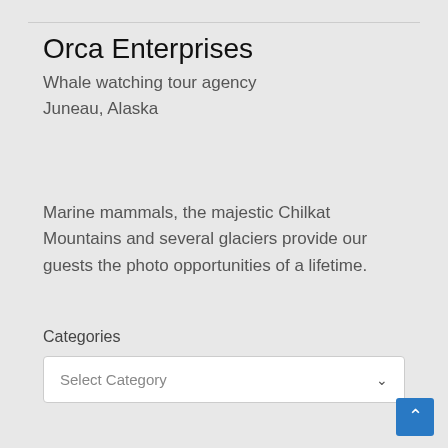Orca Enterprises
Whale watching tour agency
Juneau, Alaska
Marine mammals, the majestic Chilkat Mountains and several glaciers provide our guests the photo opportunities of a lifetime.
Categories
Select Category